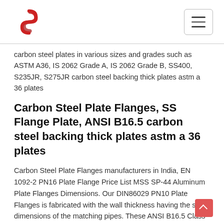carbon steel plates in various sizes and grades such as ASTM A36, IS 2062 Grade A, IS 2062 Grade B, SS400, S235JR, S275JR carbon steel backing thick plates astm a 36 plates
Carbon Steel Plate Flanges, SS Flange Plate, ANSI B16.5 carbon steel backing thick plates astm a 36 plates
Carbon Steel Plate Flanges manufacturers in India, EN 1092-2 PN16 Plate Flange Price List MSS SP-44 Aluminum Plate Flanges Dimensions. Our DIN86029 PN10 Plate Flanges is fabricated with the wall thickness having the same dimensions of the matching pipes. These ANSI B16.5 Class 150 Plate Flanges meet the requirements of various industries like heavy engineering, automobile, railways, and carbon steel backing thick plates astm a 36 plates Carbon Steel Lap Joint Flange, ASTM A105 - Landee FlangeChina Lap Joint Flange Manufacturer Landee Offers Carbon Steel Lap Joint Flanges